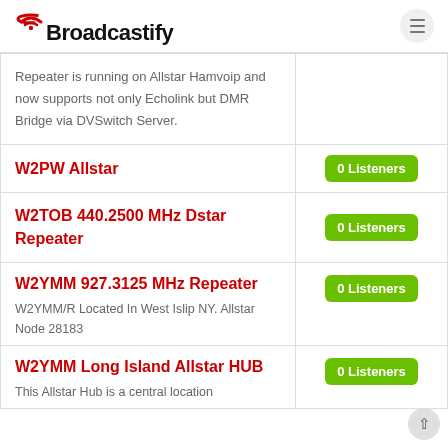Broadcastify
Repeater is running on Allstar Hamvoip and now supports not only Echolink but DMR Bridge via DVSwitch Server.
W2PW Allstar
W2TOB 440.2500 MHz Dstar Repeater
W2YMM 927.3125 MHz Repeater
W2YMM/R Located In West Islip NY. Allstar Node 28183
W2YMM Long Island Allstar HUB
This Allstar Hub is a central location